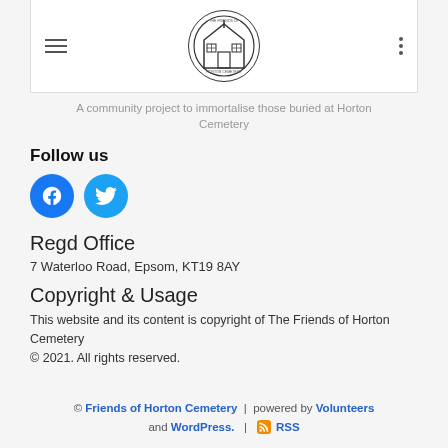[Figure (logo): The Friends of Horton Cemetery circular logo with a chapel/house illustration]
A community project to immortalise those buried at Horton Cemetery
Follow us
[Figure (illustration): Facebook and Twitter social media icon buttons]
Regd Office
7 Waterloo Road, Epsom, KT19 8AY
Copyright & Usage
This website and its content is copyright of The Friends of Horton Cemetery © 2021. All rights reserved.
© Friends of Horton Cemetery | powered by Volunteers and WordPress. | RSS